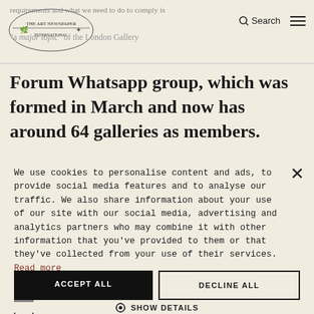Logo | Search | Menu
Forum Whatsapp group, which was formed in March and now has around 64 galleries as members.
We use cookies to personalise content and ads, to provide social media features and to analyse our traffic. We also share information about your use of our site with our social media, advertising and analytics partners who may combine it with other information that you've provided to them or that they've collected from your use of their services. Read more
STRICTLY NECESSARY
TARGETING
UNCLASSIFIED
ACCEPT ALL
DECLINE ALL
SHOW DETAILS